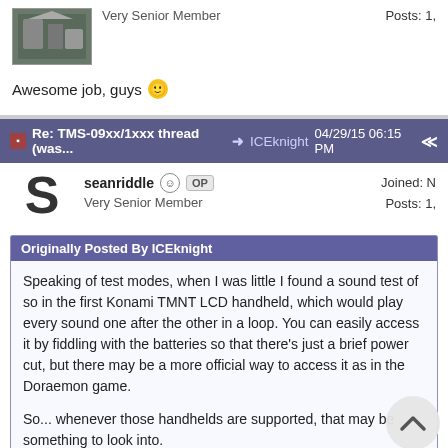Very Senior Member
Posts: 1,
Awesome job, guys 🙂
Re: TMS-09xx/1xxx thread (was... ➜ ICEknight 04/29/15 06:15 PM
seanriddle OP
Very Senior Member
Joined: N
Posts: 1,
Originally Posted By ICEknight
Speaking of test modes, when I was little I found a sound test of so in the first Konami TMNT LCD handheld, which would play every sound one after the other in a loop. You can easily access it by fiddling with the batteries so that there's just a brief power cut, but there may be a more official way to access it as in the Doraemon game.

So... whenever those handhelds are supported, that may be something to look into.